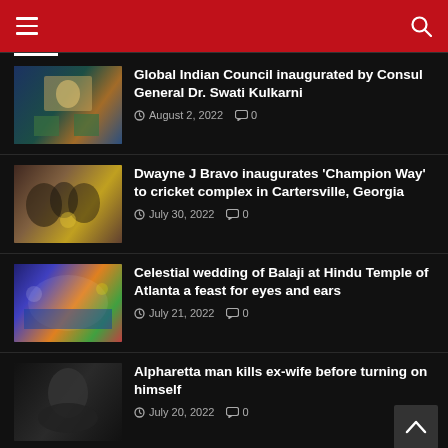Navigation header with hamburger menu and search icon
Global Indian Council inaugurated by Consul General Dr. Swati Kulkarni — August 2, 2022 — 0 comments
Dwayne J Bravo inaugurates 'Champion Way' to cricket complex in Cartersville, Georgia — July 30, 2022 — 0 comments
Celestial wedding of Balaji at Hindu Temple of Atlanta a feast for eyes and ears — July 21, 2022 — 0 comments
Alpharetta man kills ex-wife before turning on himself — July 20, 2022 — 0 comments